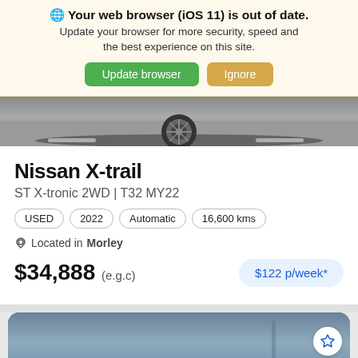🌐 Your web browser (iOS 11) is out of date. Update your browser for more security, speed and the best experience on this site.
[Figure (screenshot): Browser update warning banner with Update browser (green) and Ignore (yellow) buttons on a light yellow background]
[Figure (photo): Partial car photo showing lower portion including wheel on asphalt road]
Nissan X-trail
ST X-tronic 2WD | T32 MY22
USED  2022  Automatic  16,600 kms
Located in Morley
$34,888 (e.g.c)   $122 p/week*
[Figure (photo): Partial bottom of page showing second car listing card with blue-grey sky background and star bookmark button]